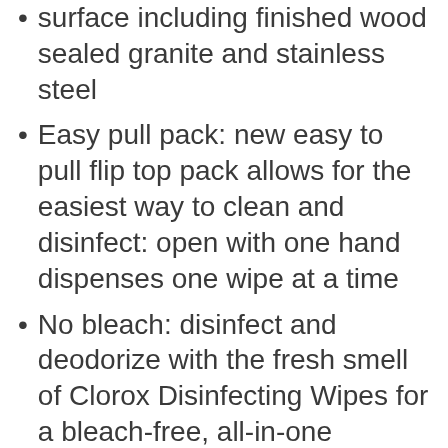surface including finished wood sealed granite and stainless steel
Easy pull pack: new easy to pull flip top pack allows for the easiest way to clean and disinfect: open with one hand dispenses one wipe at a time
No bleach: disinfect and deodorize with the fresh smell of Clorox Disinfecting Wipes for a bleach-free, all-in-one cleaning alternative. Safely wipe down toys, remotes, or clean up car spills with these sanitizing wipes